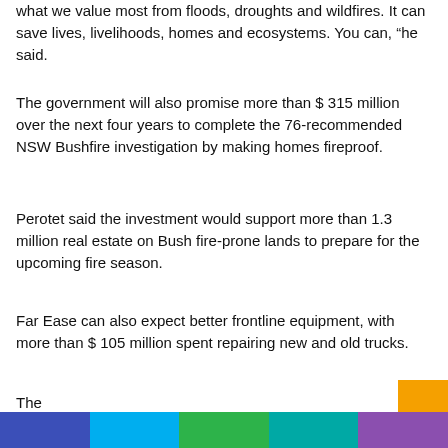what we value most from floods, droughts and wildfires. It can save lives, livelihoods, homes and ecosystems. You can, “he said.
The government will also promise more than $ 315 million over the next four years to complete the 76-recommended NSW Bushfire investigation by making homes fireproof.
Perotet said the investment would support more than 1.3 million real estate on Bush fire-prone lands to prepare for the upcoming fire season.
Far Ease can also expect better frontline equipment, with more than $ 105 million spent repairing new and old trucks.
The investigation was commissioned by former Prime Minis